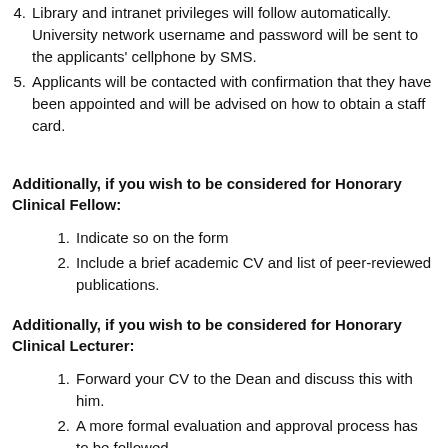4. Library and intranet privileges will follow automatically. University network username and password will be sent to the applicants' cellphone by SMS.
5. Applicants will be contacted with confirmation that they have been appointed and will be advised on how to obtain a staff card.
Additionally, if you wish to be considered for Honorary Clinical Fellow:
1. Indicate so on the form
2. Include a brief academic CV and list of peer-reviewed publications.
Additionally, if you wish to be considered for Honorary Clinical Lecturer:
1. Forward your CV to the Dean and discuss this with him.
2. A more formal evaluation and approval process has to be followed
Note